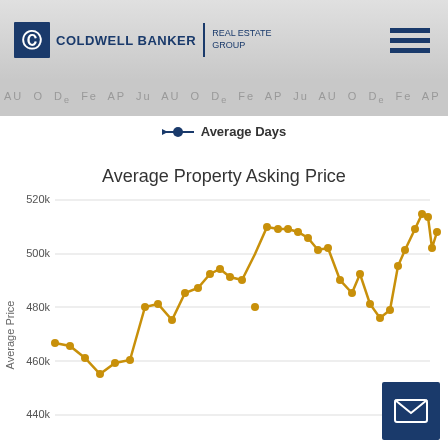Coldwell Banker Real Estate Group
[Figure (continuous-plot): Ticker strip with month abbreviations scrolling across]
Average Days
[Figure (line-chart): Line chart showing Average Property Asking Price over time. Y-axis shows values from 440k to 520k. The line starts around 448k, dips to about 437k, then rises through ~460k up to peaks near 490k, drops back, rises to peak near 502k, then settles around 488k at the end.]